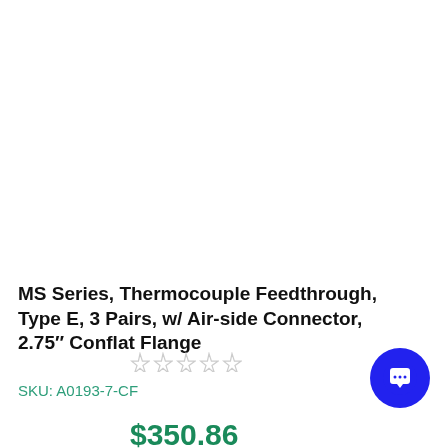[Figure (photo): Product image area — blank white space where product photo would appear]
MS Series, Thermocouple Feedthrough, Type E, 3 Pairs, w/ Air-side Connector, 2.75″ Conflat Flange
☆☆☆☆☆
SKU: A0193-7-CF
$350.86